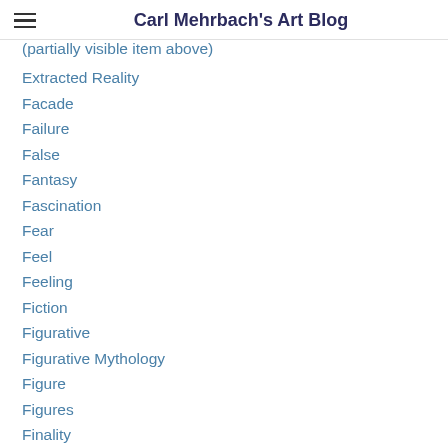Carl Mehrbach's Art Blog
Extracted Reality
Facade
Failure
False
Fantasy
Fascination
Fear
Feel
Feeling
Fiction
Figurative
Figurative Mythology
Figure
Figures
Finality
Finding
Finesse
Flat